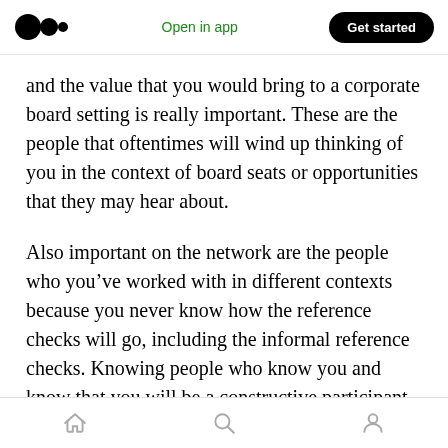Medium logo | Open in app | Get started
and the value that you would bring to a corporate board setting is really important. These are the people that oftentimes will wind up thinking of you in the context of board seats or opportunities that they may hear about.
Also important on the network are the people who you’ve worked with in different contexts because you never know how the reference checks will go, including the informal reference checks. Knowing people who know you and know that you will be a constructive participant in the
Home | Search | Profile